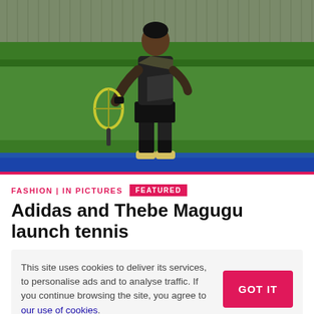[Figure (photo): A tennis player in black athletic wear with yellow shoes holding a racket on a green tennis court, with fencing and hedges in the background]
FASHION | IN PICTURES   FEATURED
Adidas and Thebe Magugu launch tennis
This site uses cookies to deliver its services, to personalise ads and to analyse traffic. If you continue browsing the site, you agree to our use of cookies.
15 Aug 2022